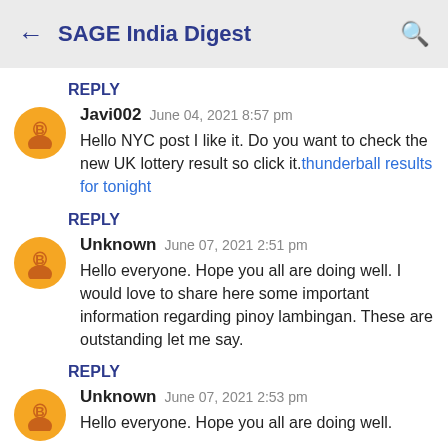← SAGE India Digest 🔍
REPLY
Javi002  June 04, 2021 8:57 pm
Hello NYC post I like it. Do you want to check the new UK lottery result so click it.thunderball results for tonight
REPLY
Unknown  June 07, 2021 2:51 pm
Hello everyone. Hope you all are doing well. I would love to share here some important information regarding pinoy lambingan. These are outstanding let me say.
REPLY
Unknown  June 07, 2021 2:53 pm
Hello everyone. Hope you all are doing well.